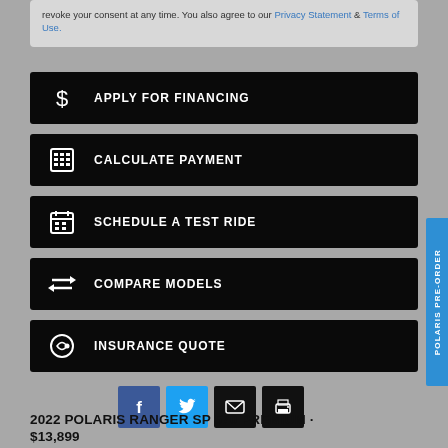revoke your consent at any time. You also agree to our Privacy Statement & Terms of Use.
APPLY FOR FINANCING
CALCULATE PAYMENT
SCHEDULE A TEST RIDE
COMPARE MODELS
INSURANCE QUOTE
[Figure (other): Social share icons: Facebook, Twitter, Email, Print]
2022 POLARIS RANGER SP 570 PREMIUM · $13,899